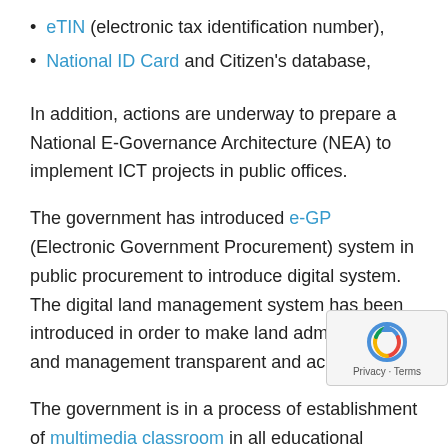eTIN (electronic tax identification number),
National ID Card and Citizen's database,
In addition, actions are underway to prepare a National E-Governance Architecture (NEA) to implement ICT projects in public offices.
The government has introduced e-GP (Electronic Government Procurement) system in public procurement to introduce digital system. The digital land management system has been introduced in order to make land administration and management transparent and accountable.
The government is in a process of establishment of multimedia classroom in all educational institutions to sensitise the teachers for developing digital conte…
To date, 3,172 Computer Labs and 80 Smart Class…